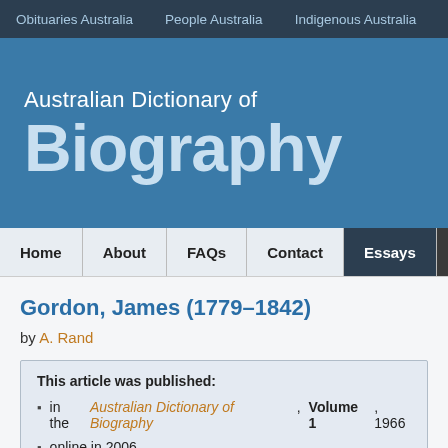Obituaries Australia   People Australia   Indigenous Australia   Wo…
Australian Dictionary of Biography
Home  About  FAQs  Contact  Essays  Adv
Gordon, James (1779–1842)
by A. Rand
This article was published:
• in the Australian Dictionary of Biography, Volume 1, 1966
• online in 2006